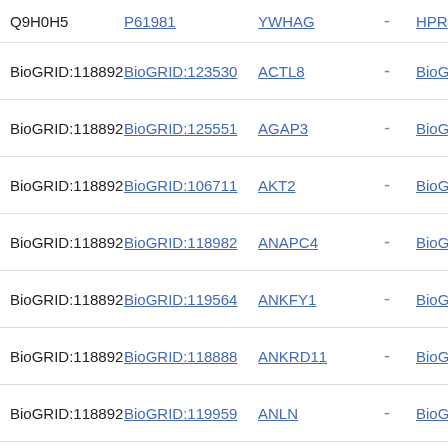| Interactor A | Interactor B | Gene |  | ... |
| --- | --- | --- | --- | --- |
| Q9H0H5 | P61981 | YWHAG | - | HPR... |
| BioGRID:118892 | BioGRID:123530 | ACTL8 | - | BioG... |
| BioGRID:118892 | BioGRID:125551 | AGAP3 | - | BioG... |
| BioGRID:118892 | BioGRID:106711 | AKT2 | - | BioG... |
| BioGRID:118892 | BioGRID:118982 | ANAPC4 | - | BioG... |
| BioGRID:118892 | BioGRID:119564 | ANKFY1 | - | BioG... |
| BioGRID:118892 | BioGRID:118888 | ANKRD11 | - | BioG... |
| BioGRID:118892 | BioGRID:119959 | ANLN | - | BioG... |